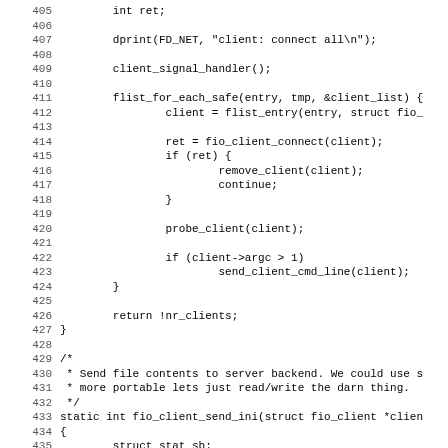[Figure (other): Source code listing in C, lines 405-436+, showing function flist_for_each_safe loop with client connection logic and start of fio_client_send_ini function with a comment block.]